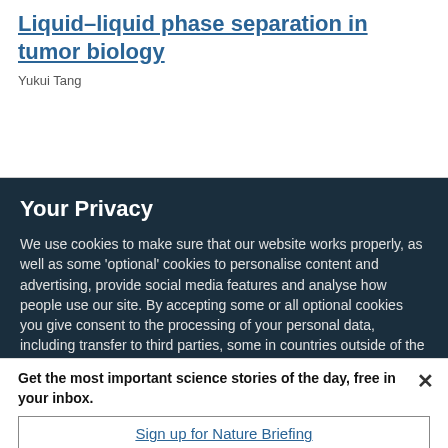Liquid–liquid phase separation in tumor biology
Yukui Tang
Your Privacy
We use cookies to make sure that our website works properly, as well as some 'optional' cookies to personalise content and advertising, provide social media features and analyse how people use our site. By accepting some or all optional cookies you give consent to the processing of your personal data, including transfer to third parties, some in countries outside of the European Economic Area that do not offer the same data protection standards as the country where you live. You can decide which optional cookies to accept by clicking on 'Manage Settings', where you can
Get the most important science stories of the day, free in your inbox.
Sign up for Nature Briefing